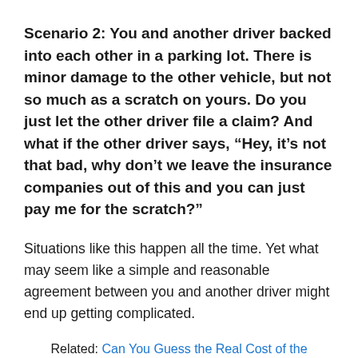Scenario 2: You and another driver backed into each other in a parking lot. There is minor damage to the other vehicle, but not so much as a scratch on yours. Do you just let the other driver file a claim? And what if the other driver says, “Hey, it’s not that bad, why don’t we leave the insurance companies out of this and you can just pay me for the scratch?”
Situations like this happen all the time. Yet what may seem like a simple and reasonable agreement between you and another driver might end up getting complicated.
Related: Can You Guess the Real Cost of the